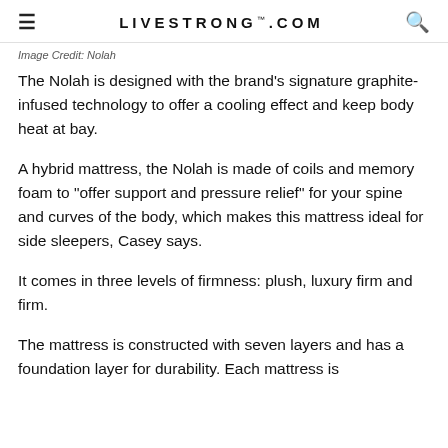LIVESTRONG.COM
Image Credit: Nolah
The Nolah is designed with the brand's signature graphite-infused technology to offer a cooling effect and keep body heat at bay.
A hybrid mattress, the Nolah is made of coils and memory foam to "offer support and pressure relief" for your spine and curves of the body, which makes this mattress ideal for side sleepers, Casey says.
It comes in three levels of firmness: plush, luxury firm and firm.
The mattress is constructed with seven layers and has a foundation layer for durability. Each mattress is